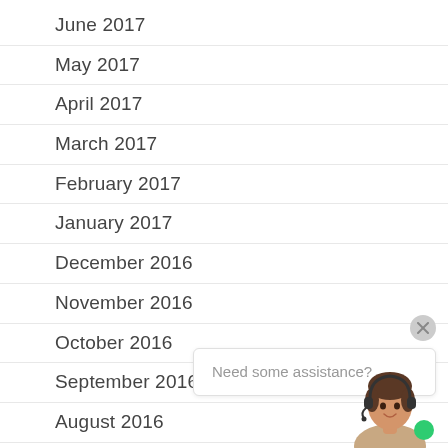June 2017
May 2017
April 2017
March 2017
February 2017
January 2017
December 2016
November 2016
October 2016
September 2016
August 2016
July 2016
June 2016
May 2016
April 2016
[Figure (screenshot): Live chat widget with close button, speech bubble saying 'Need some assistance?' and a customer service avatar with headset and green online indicator]